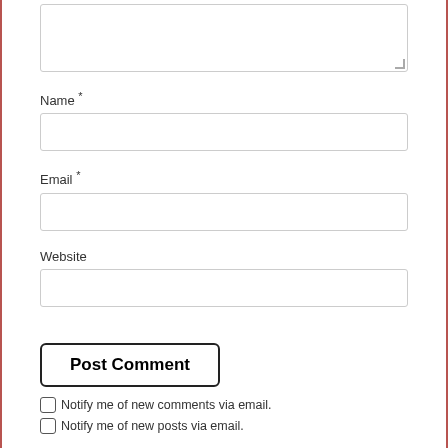[Figure (screenshot): Comment form textarea (top, partially visible, with resize handle)]
Name *
[Figure (screenshot): Name text input field]
Email *
[Figure (screenshot): Email text input field]
Website
[Figure (screenshot): Website text input field]
[Figure (screenshot): Post Comment submit button]
Notify me of new comments via email.
Notify me of new posts via email.